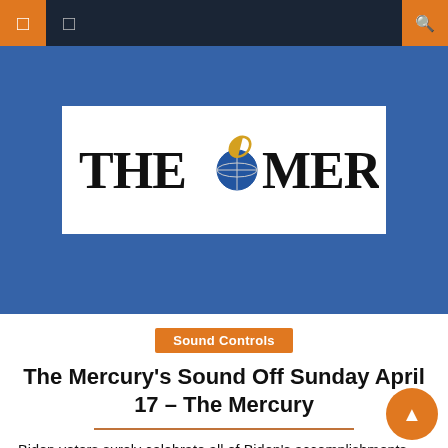Navigation bar with menu and search buttons
[Figure (logo): The Mercury newspaper logo: large serif text 'THE MERCURY' with a stylized running figure and globe emblem between 'THE' and 'MERCURY', displayed in black text on white background inside a blue banner]
Sound Controls
The Mercury's Sound Off Sunday April 17 – The Mercury
Biden voters surely celebrate all of Biden's accomplishments. Inflation of 8.5% in March was a 40-year high, $4.30 per